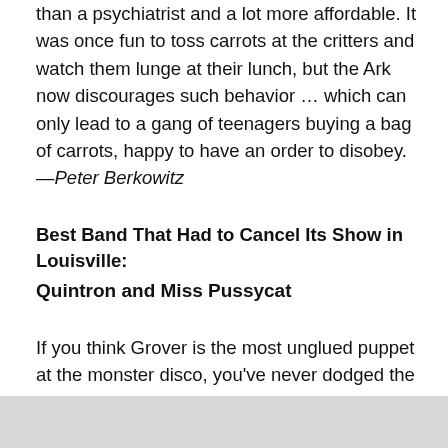than a psychiatrist and a lot more affordable. It was once fun to toss carrots at the critters and watch them lunge at their lunch, but the Ark now discourages such behavior … which can only lead to a gang of teenagers buying a bag of carrots, happy to have an order to disobey. —Peter Berkowitz
Best Band That Had to Cancel Its Show in Louisville:
Quintron and Miss Pussycat
If you think Grover is the most unglued puppet at the monster disco, you've never dodged the machine gun fire from Miss Pussycat's soft villains and snuggly